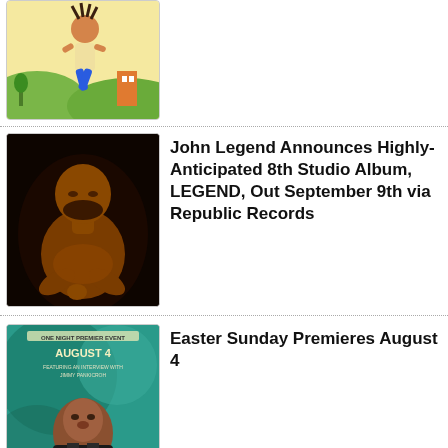[Figure (illustration): Animated illustration of a person with dreadlocks running, colorful background with green hills and buildings]
[Figure (photo): John Legend shirtless portrait photo with dramatic dark lighting]
John Legend Announces Highly-Anticipated 8th Studio Album, LEGEND, Out September 9th via Republic Records
[Figure (photo): Easter Sunday movie promotional poster featuring a man, text reads ONE NIGHT PREMIER EVENT AUGUST 4, EASTER SUNDAY in pink letters]
Easter Sunday Premieres August 4
[Figure (photo): Outdoor dark photo, partially visible]
Office Culture Announces New Album Big Time Things Out